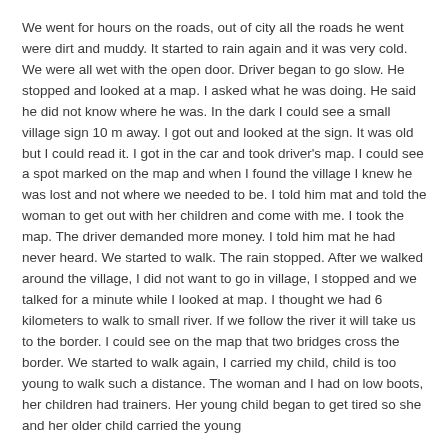We went for hours on the roads, out of city all the roads he went were dirt and muddy. It started to rain again and it was very cold. We were all wet with the open door. Driver began to go slow. He stopped and looked at a map. I asked what he was doing. He said he did not know where he was. In the dark I could see a small village sign 10 m away. I got out and looked at the sign. It was old but I could read it. I got in the car and took driver's map. I could see a spot marked on the map and when I found the village I knew he was lost and not where we needed to be. I told him mat and told the woman to get out with her children and come with me. I took the map. The driver demanded more money. I told him mat he had never heard. We started to walk. The rain stopped. After we walked around the village, I did not want to go in village, I stopped and we talked for a minute while I looked at map. I thought we had 6 kilometers to walk to small river. If we follow the river it will take us to the border. I could see on the map that two bridges cross the border. We started to walk again, I carried my child, child is too young to walk such a distance. The woman and I had on low boots, her children had trainers. Her young child began to get tired so she and her older child carried the young